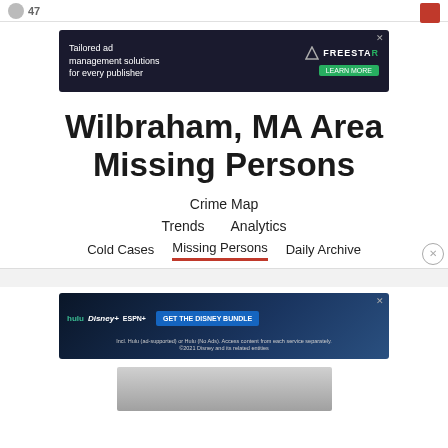[Figure (screenshot): FreestarAd banner: dark background with text 'Tailored ad management solutions for every publisher' and FREESTAR logo with LEARN MORE button]
Wilbraham, MA Area Missing Persons
Crime Map
Trends   Analytics
Cold Cases   Missing Persons   Daily Archive
[Figure (screenshot): Disney Bundle ad banner: 'hulu Disney+ ESPN+ GET THE DISNEY BUNDLE' with fine print about Hulu and Disney services]
[Figure (photo): Partial image at bottom of page, appears to be a person photo, mostly cut off]